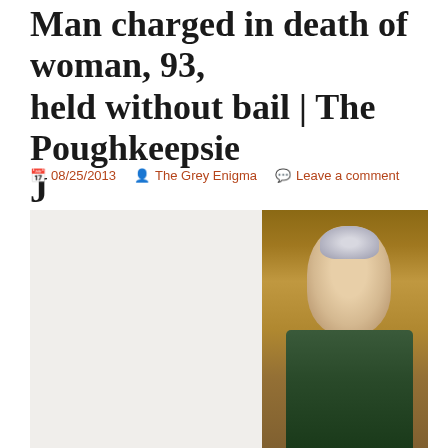Man charged in death of woman, 93, held without bail | The Poughkeepsie J
08/25/2013  The Grey Enigma  Leave a comment
[Figure (photo): Portrait photo of an elderly woman with short grey hair, glasses, wearing a dark green vest over a white scarf/blouse, smiling at the camera. Background appears to be wooden paneling.]